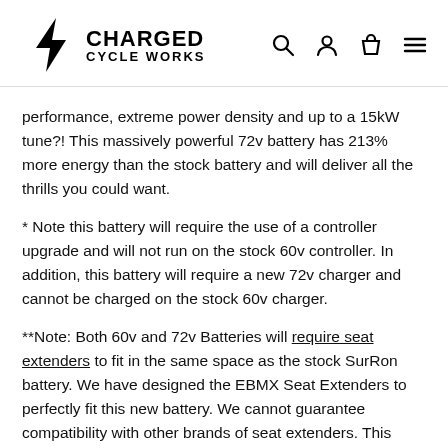Charged Cycle Works
performance, extreme power density and up to a 15kW tune?! This massively powerful 72v battery has 213% more energy than the stock battery and will deliver all the thrills you could want.
* Note this battery will require the use of a controller upgrade and will not run on the stock 60v controller. In addition, this battery will require a new 72v charger and cannot be charged on the stock 60v charger.
**Note: Both 60v and 72v Batteries will require seat extenders to fit in the same space as the stock SurRon battery. We have designed the EBMX Seat Extenders to perfectly fit this new battery. We cannot guarantee compatibility with other brands of seat extenders. This could cause incompatibility and fitment issues with